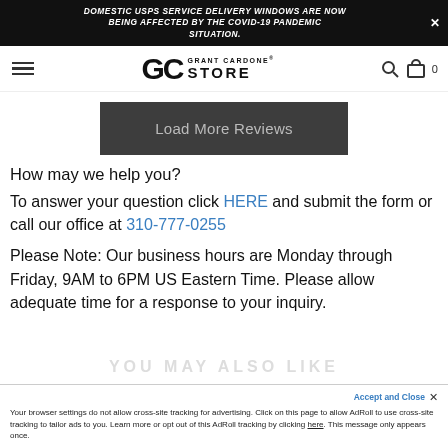DOMESTIC USPS SERVICE DELIVERY WINDOWS ARE NOW BEING AFFECTED BY THE COVID-19 PANDEMIC SITUATION.
[Figure (logo): Grant Cardone Store logo with GC monogram and navigation icons (hamburger menu, search, cart)]
[Figure (screenshot): Dark gray 'Load More Reviews' button]
How may we help you?
To answer your question click HERE and submit the form or call our office at 310-777-0255
Please Note: Our business hours are Monday through Friday, 9AM to 6PM US Eastern Time. Please allow adequate time for a response to your inquiry.
YOU MAY ALSO LIKE
Your browser settings do not allow cross-site tracking for advertising. Click on this page to allow AdRoll to use cross-site tracking to tailor ads to you. Learn more or opt out of this AdRoll tracking by clicking here. This message only appears once.